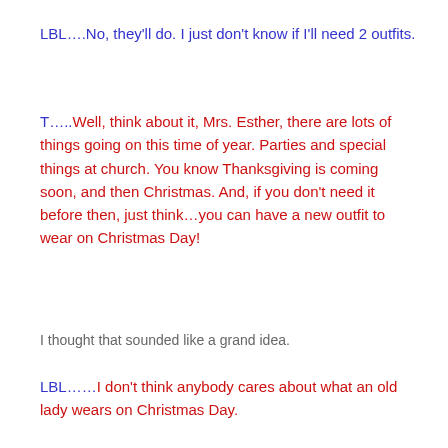LBL….No, they'll do. I just don't know if I'll need 2 outfits.
T…..Well, think about it, Mrs. Esther, there are lots of things going on this time of year. Parties and special things at church. You know Thanksgiving is coming soon, and then Christmas. And, if you don't need it before then, just think…you can have a new outfit to wear on Christmas Day!
I thought that sounded like a grand idea.
LBL……I don't think anybody cares about what an old lady wears on Christmas Day.